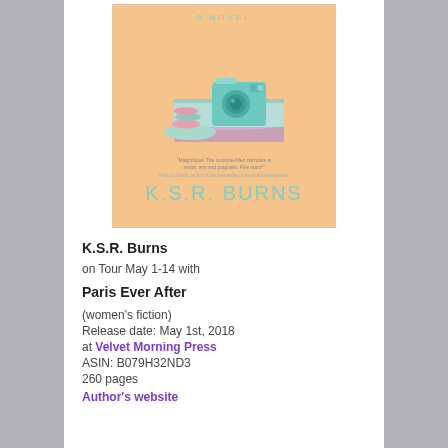[Figure (illustration): Book cover for 'Paris Ever After' by K.S.R. Burns — a novel. Pastel orange background with a teal vintage camera on a mint/pink book, with macarons on a plate beside it. A quote and the author name K.S.R. BURNS appear at the bottom.]
K.S.R. Burns
on Tour May 1-14 with
Paris Ever After
(women's fiction)
Release date: May 1st, 2018
at Velvet Morning Press
ASIN: B079H32ND3
260 pages
Author's website